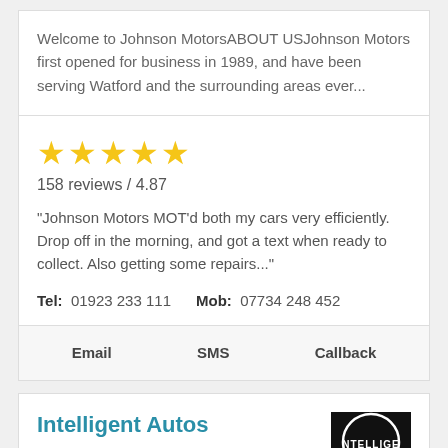Welcome to Johnson MotorsABOUT USJohnson Motors first opened for business in 1989, and have been serving Watford and the surrounding areas ever...
[Figure (other): Five gold star rating icons]
158 reviews / 4.87
"Johnson Motors MOT'd both my cars very efficiently. Drop off in the morning, and got a text when ready to collect. Also getting some repairs..."
Tel: 01923 233 111   Mob: 07734 248 452
Email   SMS   Callback
Intelligent Autos
[Figure (logo): Intelligent Autos logo — black circle with white text NTELLIGEN partially visible]